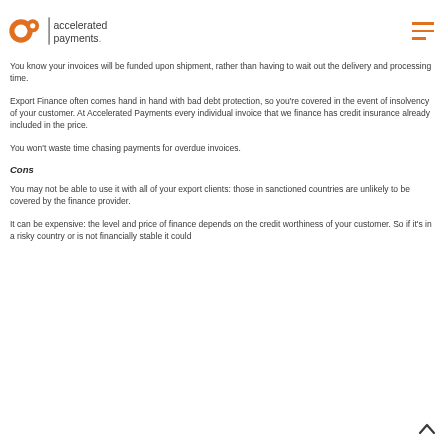Accelerated Payments
You know your invoices will be funded upon shipment, rather than having to wait out the delivery and processing time.
Export Finance often comes hand in hand with bad debt protection, so you're covered in the event of insolvency of your customer. At Accelerated Payments every individual invoice that we finance has credit insurance already included in the price.
You won't waste time chasing payments for overdue invoices.
Cons
You may not be able to use it with all of your export clients: those in sanctioned countries are unlikely to be covered by the finance provider.
It can be expensive: the level and price of finance depends on the credit worthiness of your customer. So if it's in a risky country or is not financially stable it could